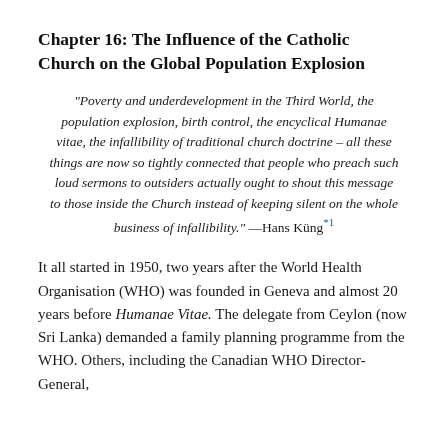Chapter 16: The Influence of the Catholic Church on the Global Population Explosion
“Poverty and underdevelopment in the Third World, the population explosion, birth control, the encyclical Humanae vitae, the infallibility of traditional church doctrine – all these things are now so tightly connected that people who preach such loud sermons to outsiders actually ought to shout this message to those inside the Church instead of keeping silent on the whole business of infallibility.” —Hans Küng*1
It all started in 1950, two years after the World Health Organisation (WHO) was founded in Geneva and almost 20 years before Humanae Vitae. The delegate from Ceylon (now Sri Lanka) demanded a family planning programme from the WHO. Others, including the Canadian WHO Director-General,